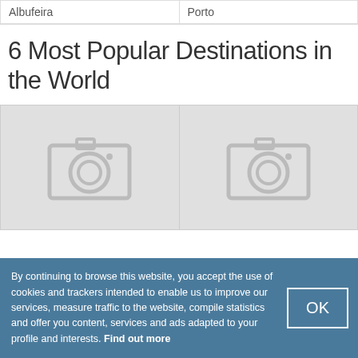Albufeira
Porto
6 Most Popular Destinations in the World
[Figure (photo): Placeholder image with camera icon (left)]
[Figure (photo): Placeholder image with camera icon (right)]
By continuing to browse this website, you accept the use of cookies and trackers intended to enable us to improve our services, measure traffic to the website, compile statistics and offer you content, services and ads adapted to your profile and interests. Find out more